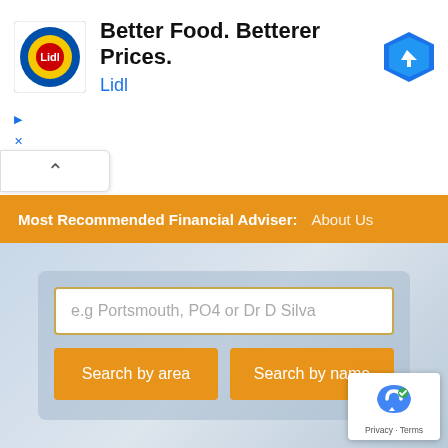[Figure (logo): Lidl advertisement banner with Lidl logo, text 'Better Food. Betterer Prices.' and 'Lidl', and a blue navigation arrow icon]
Most Recommended Financial Adviser:   About Us
e.g Portsmouth, PO4 or Dr D Silva
Search by area
Search by name